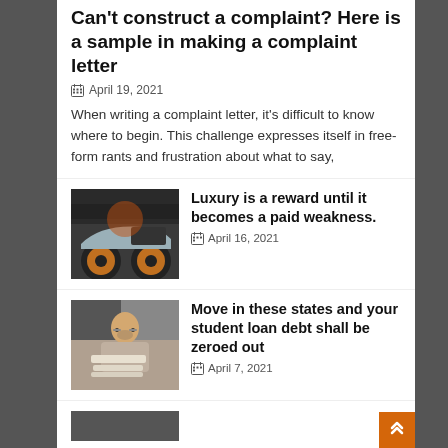Can't construct a complaint? Here is a sample in making a complaint letter
April 19, 2021
When writing a complaint letter, it's difficult to know where to begin. This challenge expresses itself in free-form rants and frustration about what to say,
[Figure (photo): Photo of a silver sports car with orange wheels]
Luxury is a reward until it becomes a paid weakness.
April 16, 2021
[Figure (photo): Photo of a woman with glasses reading books]
Move in these states and your student loan debt shall be zeroed out
April 7, 2021